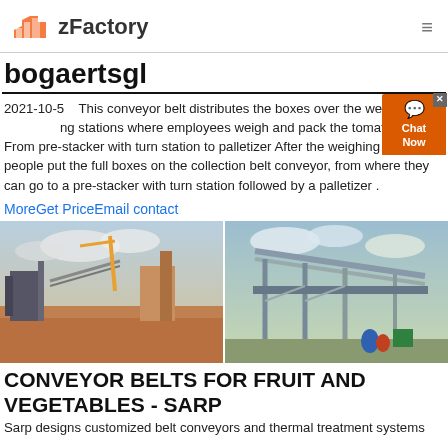zFactory
bogaertsgl
2021-10-5    This conveyor belt distributes the boxes over the weighing stations where employees weigh and pack the tomatoes. From pre-stacker with turn station to palletizer After the weighing table, people put the full boxes on the collection belt conveyor, from where they can go to a pre-stacker with turn station followed by a palletizer .
MoreGet PriceEmail contact
[Figure (photo): Two industrial conveyor belt facility photos side by side. Left: outdoor aggregate processing facility with conveyors and equipment on red/brown soil under cloudy sky. Right: large industrial conveyor belt structure with metal framework against a sky with clouds.]
CONVEYOR BELTS FOR FRUIT AND VEGETABLES - SARP
Sarp designs customized belt conveyors and thermal treatment systems